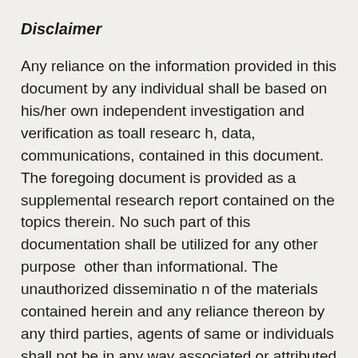Disclaimer
Any reliance on the information provided in this document by any individual shall be based on his/her own independent investigation and verification as toall research, data, communications, contained in this document. The foregoing document is provided as a supplemental research report contained on the topics therein. No such part of this documentation shall be utilized for any other purpose other than informational. The unauthorized dissemination of the materials contained herein and any reliance thereon by any third parties, agents of same or individuals shall not be in any way associated or attributed to thePublisher of this document. Publisher does not make any warranties as to the accuracy, content, completeness or reliability